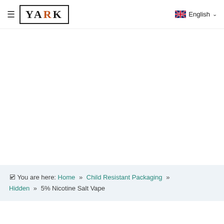≡ YARK  English
📍 You are here:  Home  »  Child Resistant Packaging  »  Hidden  »  5% Nicotine Salt Vape